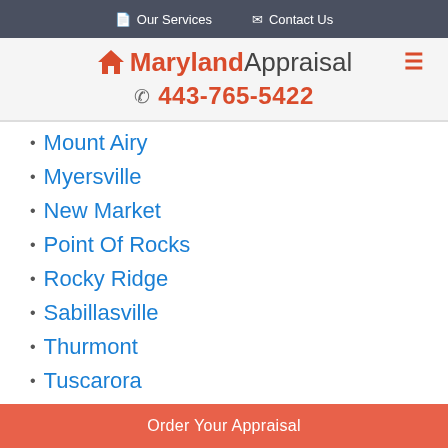Our Services   Contact Us
Maryland Appraisal  443-765-5422
Mount Airy
Myersville
New Market
Point Of Rocks
Rocky Ridge
Sabillasville
Thurmont
Tuscarora
Walkersville
Woodsboro
Order Your Appraisal